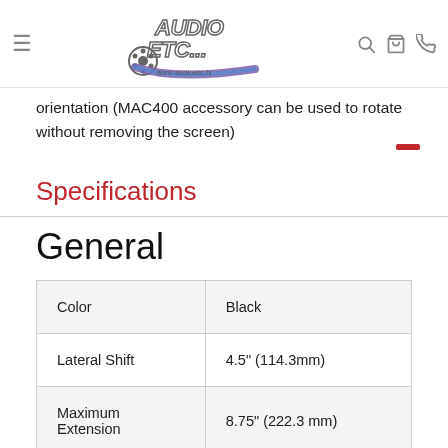Audio ETC - navigation bar with logo, search, cart, and phone icons
orientation (MAC400 accessory can be used to rotate without removing the screen)
Specifications
General
|  |  |
| --- | --- |
| Color | Black |
| Lateral Shift | 4.5" (114.3mm) |
| Maximum Extension | 8.75" (222.3 mm) |